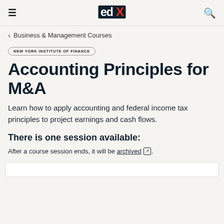edX
< Business & Management Courses
[Figure (logo): New York Institute of Finance logo badge/pill]
Accounting Principles for M&A
Learn how to apply accounting and federal income tax principles to project earnings and cash flows.
There is one session available:
After a course session ends, it will be archived [external link icon].